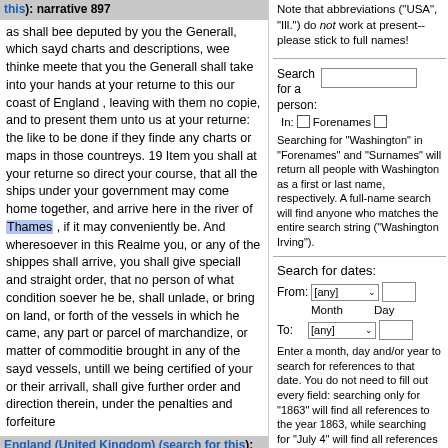this): narrative 897
as shall bee deputed by you the Generall, which sayd charts and descriptions, wee thinke meete that you the Generall shall take into your hands at your returne to this our coast of England , leaving with them no copie, and to present them unto us at your returne: the like to be done if they finde any charts or maps in those countreys. 19 Item you shall at your returne so direct your course, that all the ships under your government may come home together, and arrive here in the river of Thames , if it may conveniently be. And wheresoever in this Realme you, or any of the shippes shall arrive, you shall give speciall and straight order, that no person of what condition soever he be, shall unlade, or bring on land, or forth of the vessels in which he came, any part or parcel of marchandize, or matter of commoditie brought in any of the sayd vessels, untill we being certified of your or their arrivall, shall give further order and direction therein, under the penalties and forfeiture
England (United Kingdom) (search for this): narrative 897
Note that abbreviations ("USA", "Ill.") do not work at present--please stick to full names!
Search for a person:
In: Forenames
Searching for "Washington" in "Forenames" and "Surnames" will return all people with Washington as a first or last name, respectively. A full-name search will find anyone who matches the entire search string ("Washington Irving").
Search for dates:
From: [any]  Month  Day
To: [any]
Enter a month, day and/or year to search for references to that date. You do not need to fill out every field: searching only for "1863" will find all references to the year 1863, while searching for "July 4" will find all references to the 4th of July, regardless of year.